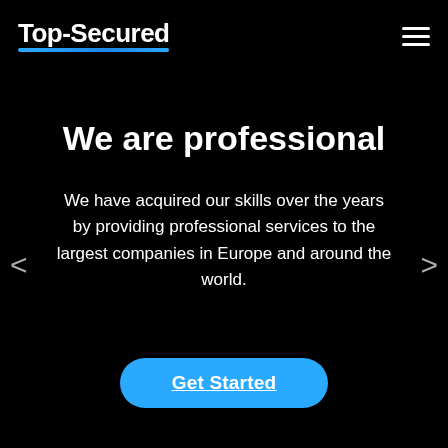Top-Secured
We are professional
We have acquired our skills over the years by providing professional services to the largest companies in Europe and around the world.
Get Started